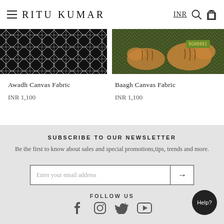RITU KUMAR — INR
[Figure (photo): Awadh Canvas Fabric — black and white geometric/lattice pattern fabric swatch]
Awadh Canvas Fabric
INR 1,100
[Figure (photo): Baagh Canvas Fabric — dark olive green fabric with tiger print pattern]
Baagh Canvas Fabric
INR 1,100
SUBSCRIBE TO OUR NEWSLETTER
Be the first to know about sales and special promotions,tips, trends and more.
Enter your email address
FOLLOW US
[Figure (other): Social media icons: Facebook, Instagram, Twitter, YouTube]
Help?